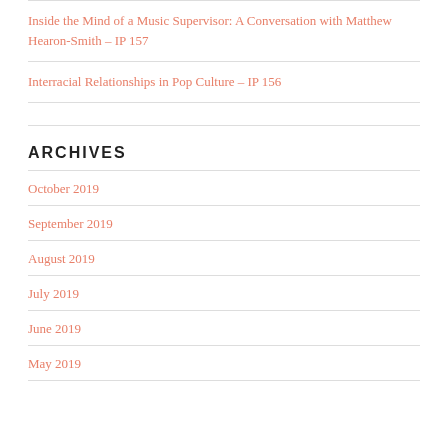Inside the Mind of a Music Supervisor: A Conversation with Matthew Hearon-Smith – IP 157
Interracial Relationships in Pop Culture – IP 156
ARCHIVES
October 2019
September 2019
August 2019
July 2019
June 2019
May 2019